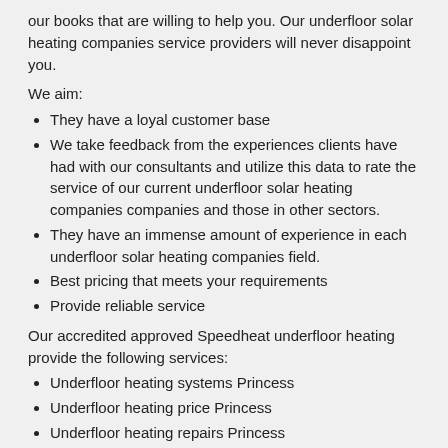our books that are willing to help you. Our underfloor solar heating companies service providers will never disappoint you.
We aim:
They have a loyal customer base
We take feedback from the experiences clients have had with our consultants and utilize this data to rate the service of our current underfloor solar heating companies companies and those in other sectors.
They have an immense amount of experience in each underfloor solar heating companies field.
Best pricing that meets your requirements
Provide reliable service
Our accredited approved Speedheat underfloor heating provide the following services:
Underfloor heating systems Princess
Underfloor heating price Princess
Underfloor heating repairs Princess
Speedheat underfloor heating Princess
Underfloor heating installation Princess
Solar powered underfloor heating Princess
Under tile heating Princess
Underfloor bathroom heating Princess
Best underfloor heating installer Princess
Underfloor solar heating companies Princess